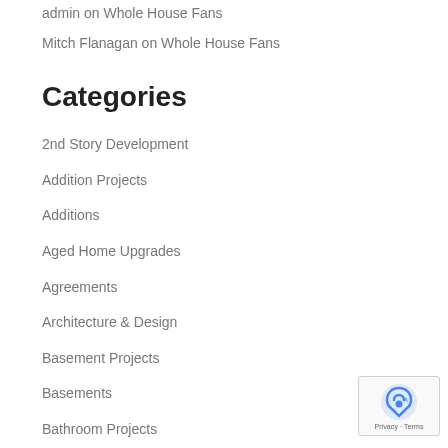admin on Whole House Fans
Mitch Flanagan on Whole House Fans
Categories
2nd Story Development
Addition Projects
Additions
Aged Home Upgrades
Agreements
Architecture & Design
Basement Projects
Basements
Bathroom Projects
Bathrooms
Best of Blogs
Budget